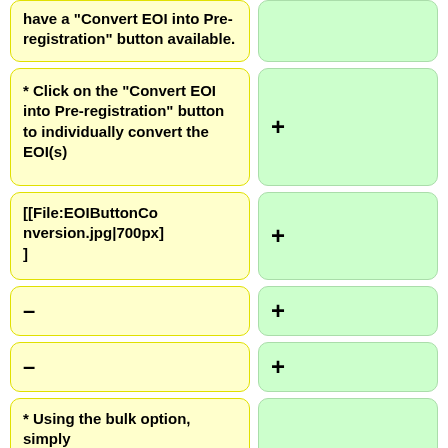have a "Convert EOI into Pre-registration" button available.
* Click on the "Convert EOI into Pre-registration" button to individually convert the EOI(s)
+
[[File:EOIButtonConversion.jpg|700px]]
+
–
+
–
+
* Using the bulk option, simply